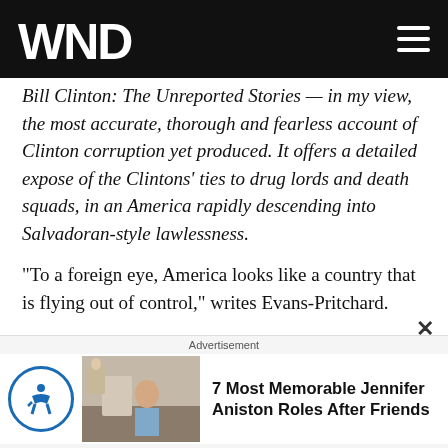WND
Bill Clinton: The Unreported Stories — in my view, the most accurate, thorough and fearless account of Clinton corruption yet produced. It offers a detailed expose of the Clintons' ties to drug lords and death squads, in an America rapidly descending into Salvadoran-style lawlessness.
"To a foreign eye, America looks like a country that is flying out of control," writes Evans-Pritchard.
[I]t is under Clinton that an armed militia movement involving tens of thousands of people has mushroomed of the plain… People do not spend their weekends wit...
Advertisement
7 Most Memorable Jennifer Aniston Roles After Friends